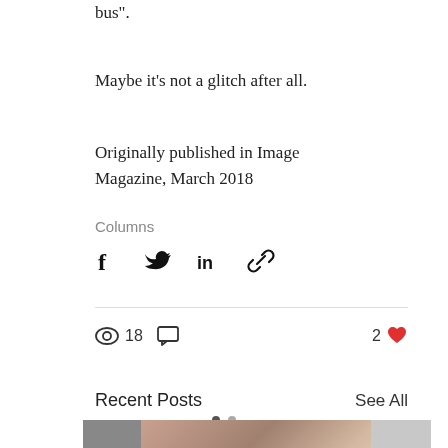bus".
Maybe it's not a glitch after all.
Originally published in Image Magazine, March 2018
Columns
[Figure (infographic): Social share icons: Facebook, Twitter, LinkedIn, and link/chain icon]
18 views, 0 comments, 2 likes
Recent Posts
See All
[Figure (photo): Row of post thumbnail images: partial dark image on left, center photo of a woman smiling with something white, partial light image on right]